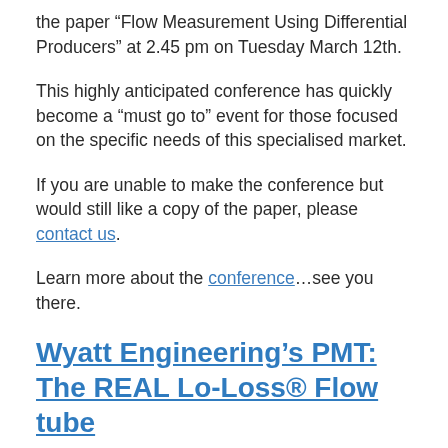the paper “Flow Measurement Using Differential Producers” at 2.45 pm on Tuesday March 12th.
This highly anticipated conference has quickly become a “must go to” event for those focused on the specific needs of this specialised market.
If you are unable to make the conference but would still like a copy of the paper, please contact us.
Learn more about the conference…see you there.
Wyatt Engineering’s PMT: The REAL Lo-Loss® Flow tube
Posted by Wyatt Engineering on December 5, 2012 7:06 am | Leave a Comment
[Figure (photo): Partial photo of a person with dark hair against a green outdoor background]